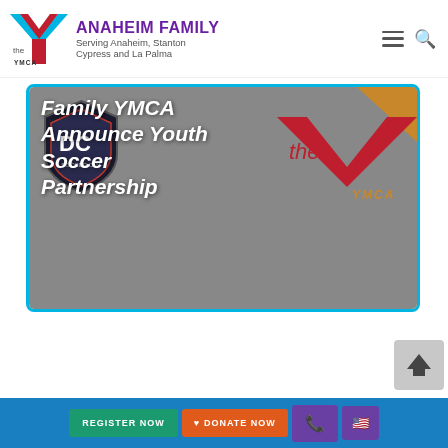ANAHEIM FAMILY YMCA - Serving Anaheim, Stanton, Cypress and La Palma
[Figure (photo): Banner image showing OC Soccer Club logo on the left and YMCA logo on the right on a grey background, with overlay white italic text reading: Family YMCA Announce Youth Soccer Partnership]
[Figure (screenshot): Back-to-top button with arrow icon in grey box at bottom right]
REGISTER NOW | DONATE NOW | Phone | Flag/Language